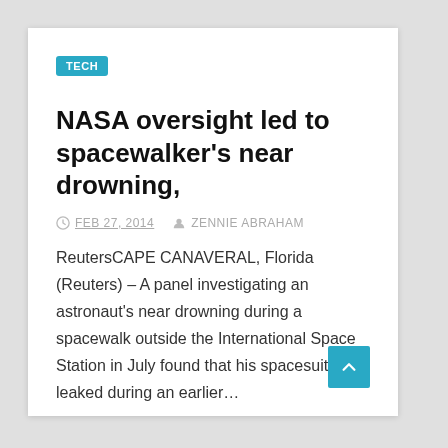TECH
NASA oversight led to spacewalker's near drowning,
FEB 27, 2014   ZENNIE ABRAHAM
ReutersCAPE CANAVERAL, Florida (Reuters) – A panel investigating an astronaut's near drowning during a spacewalk outside the International Space Station in July found that his spacesuit leaked during an earlier…